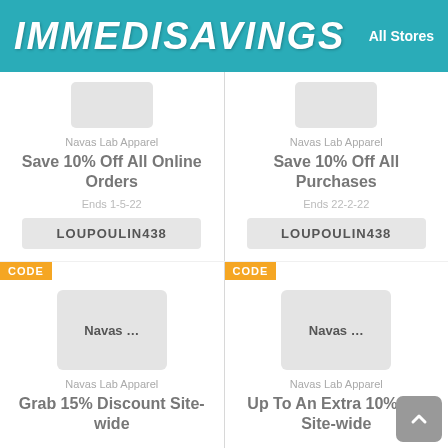IMMEDISAVINGS — All Stores
Navas Lab Apparel
Save 10% Off All Online Orders
Ends 1-5-22
LOUPOULIN438
Navas Lab Apparel
Save 10% Off All Purchases
Ends 22-2-22
LOUPOULIN438
Navas Lab Apparel
Grab 15% Discount Site-wide
Navas Lab Apparel
Up To An Extra 10% Off Site-wide